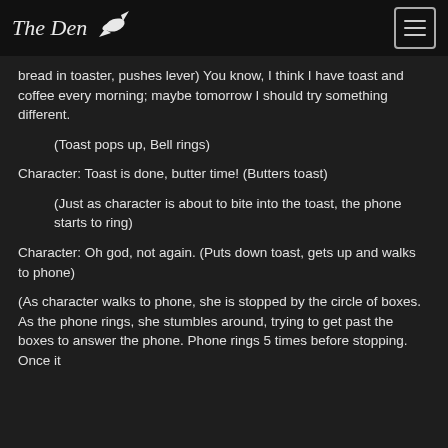The Den
bread in toaster, pushes lever) You know, I think I have toast and coffee every morning; maybe tomorrow I should try something different.
(Toast pops up, Bell rings)
Character: Toast is done, butter time! (Butters toast)
(Just as character is about to bite into the toast, the phone starts to ring)
Character: Oh god, not again. (Puts down toast, gets up and walks to phone)
(As character walks to phone, she is stopped by the circle of boxes. As the phone rings, she stumbles around, trying to get past the boxes to answer the phone. Phone rings 5 times before stopping. Once it